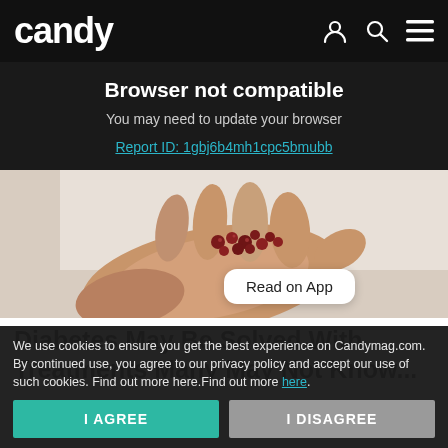candy
Browser not compatible
You may need to update your browser
Report ID: 1gbj6b4mh1cpc5bmubb
[Figure (photo): A hand with palm open holding several small red berries/seeds]
Read on App
Diabetes May Be Solved With Treatments Many May Not Know...
We use cookies to ensure you get the best experience on Candymag.com. By continued use, you agree to our privacy policy and accept our use of such cookies. Find out more here.Find out more here.
I AGREE
I DISAGREE